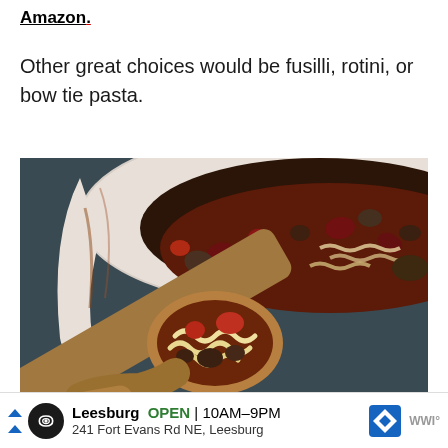Amazon.
Other great choices would be fusilli, rotini, or bow tie pasta.
[Figure (photo): Overhead view of a large pot of pasta soup with meat, beans, tomatoes, and bow-tie/lasagna noodles, with a wooden spoon scooping up a portion.]
Leesburg OPEN 10AM–9PM 241 Fort Evans Rd NE, Leesburg